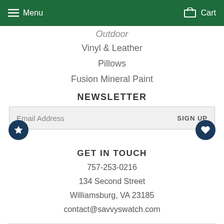Menu  Cart
Outdoor
Vinyl & Leather
Pillows
Fusion Mineral Paint
NEWSLETTER
Email Address  SIGN UP
GET IN TOUCH
757-253-0216
134 Second Street
Williamsburg, VA 23185
contact@savvyswatch.com
© 2022 Savvy Swatch    Powered by Shopify